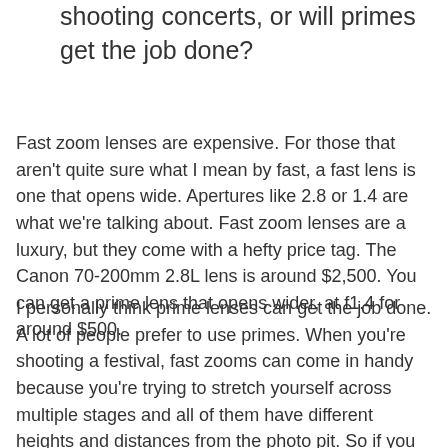shooting concerts, or will primes get the job done?
Fast zoom lenses are expensive. For those that aren't quite sure what I mean by fast, a fast lens is one that opens wide. Apertures like 2.8 or 1.4 are what we're talking about. Fast zoom lenses are a luxury, but they come with a hefty price tag. The Canon 70-200mm 2.8L lens is around $2,500. You can get a prime lens that opens wider, at f1.4 for around $500.
I personally think prime lenses can get the job done. A lot of people prefer to use primes. When you're shooting a festival, fast zooms can come in handy because you're trying to stretch yourself across multiple stages and all of them have different heights and distances from the photo pit. So if you have a prime lens that is 100mm, you might find that you need something wider for certain stages.